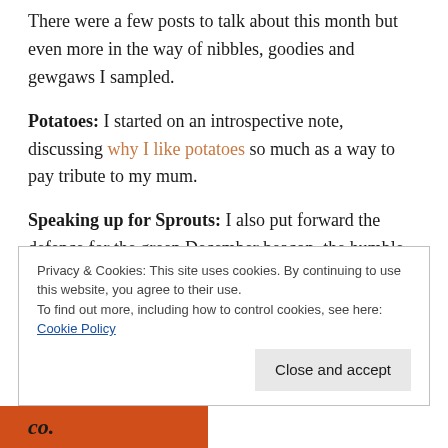There were a few posts to talk about this month but even more in the way of nibbles, goodies and gewgaws I sampled.
Potatoes: I started on an introspective note, discussing why I like potatoes so much as a way to pay tribute to my mum.
Speaking up for Sprouts: I also put forward the defence for the green December beacon, the humble Brussels Sprout, and gave it a little more life with potato and cream.
Privacy & Cookies: This site uses cookies. By continuing to use this website, you agree to their use.
To find out more, including how to control cookies, see here: Cookie Policy
Close and accept
[Figure (other): Orange/red bar at bottom with italic text 'co.']